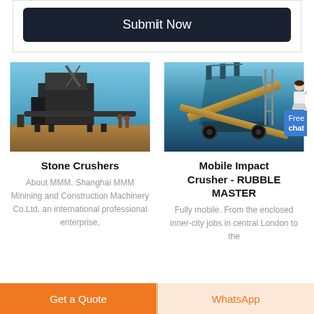Submit Now
[Figure (photo): Industrial stone crusher machinery photographed outdoors under blue sky]
Stone Crushers
About MMM. Shanghai MMM Minining and Construction Machinery Co.Ltd, an international professional enterprise,
[Figure (photo): Mobile impact crusher - RUBBLE MASTER machine photographed outdoors]
Mobile Impact Crusher - RUBBLE MASTER
Fully mobile. From the enclosed inner-city jobs in central London to the
Get a Quote
WhatsApp